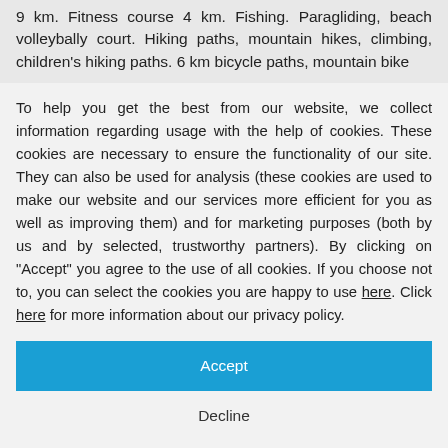9 km. Fitness course 4 km. Fishing. Paragliding, beach volleybally court. Hiking paths, mountain hikes, climbing, children's hiking paths. 6 km bicycle paths, mountain bike
To help you get the best from our website, we collect information regarding usage with the help of cookies. These cookies are necessary to ensure the functionality of our site. They can also be used for analysis (these cookies are used to make our website and our services more efficient for you as well as improving them) and for marketing purposes (both by us and by selected, trustworthy partners). By clicking on "Accept" you agree to the use of all cookies. If you choose not to, you can select the cookies you are happy to use here. Click here for more information about our privacy policy.
Accept
Decline
Configure